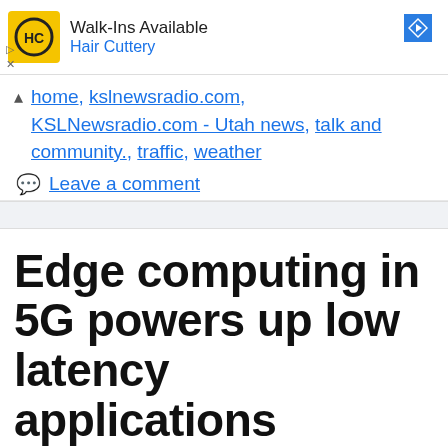[Figure (other): Advertisement banner for Hair Cuttery. Yellow square logo with 'HC' text, showing 'Walk-Ins Available' and 'Hair Cuttery' in blue link text, with a blue navigation arrow icon on the right.]
home, kslnewsradio.com, KSLNewsradio.com - Utah news, talk and community., traffic, weather
Leave a comment
Edge computing in 5G powers up low latency applications
August 17, 2022 by admin